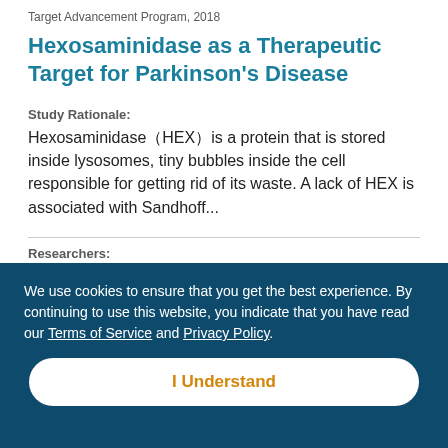Target Advancement Program, 2018
Hexosaminidase as a Therapeutic Target for Parkinson's Disease
Study Rationale:
Hexosaminidase (HEX) is a protein that is stored inside lysosomes, tiny bubbles inside the cell responsible for getting rid of its waste. A lack of HEX is associated with Sandhoff...
Researchers:
We use cookies to ensure that you get the best experience. By continuing to use this website, you indicate that you have read our Terms of Service and Privacy Policy.
I Understand